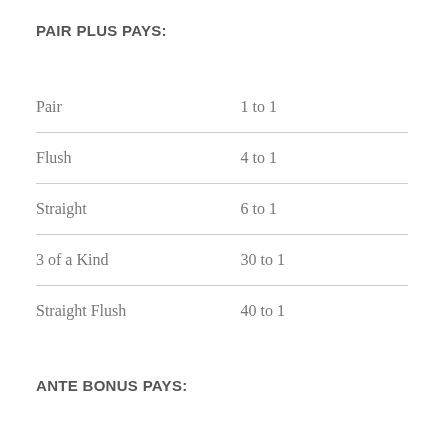PAIR PLUS PAYS:
| Pair | 1 to 1 |
| Flush | 4 to 1 |
| Straight | 6 to 1 |
| 3 of a Kind | 30 to 1 |
| Straight Flush | 40 to 1 |
ANTE BONUS PAYS: